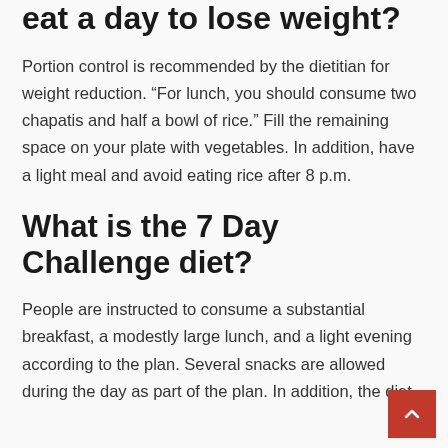eat a day to lose weight?
Portion control is recommended by the dietitian for weight reduction. “For lunch, you should consume two chapatis and half a bowl of rice.” Fill the remaining space on your plate with vegetables. In addition, have a light meal and avoid eating rice after 8 p.m.
What is the 7 Day Challenge diet?
People are instructed to consume a substantial breakfast, a modestly large lunch, and a light evening according to the plan. Several snacks are allowed during the day as part of the plan. In addition, the diet